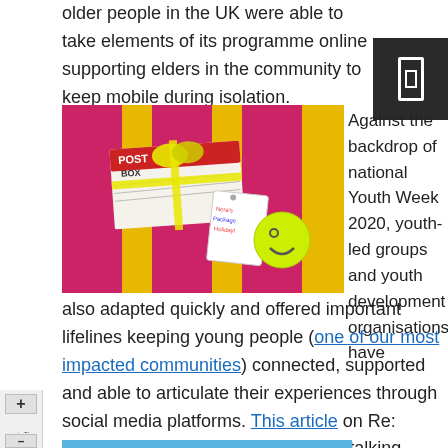older people in the UK were able to take elements of its programme online supporting elders in the community to keep mobile during isolation.
[Figure (photo): A postal box gift wrapped with a yellow ribbon and bow, with a handwritten holiday package tag and a yellow smiley face sticker, sitting on a colorful bench with pink and yellow stripes.]
Against the backdrop of national Youth Week 2020, youth-led groups and youth development organisations have also adapted quickly and offered important lifelines keeping young people (one of our most impacted communities) connected, supported and able to articulate their experiences through social media platforms. This article on Re: features five young Aotearoa artists talking about their practice and its place in their lives during the